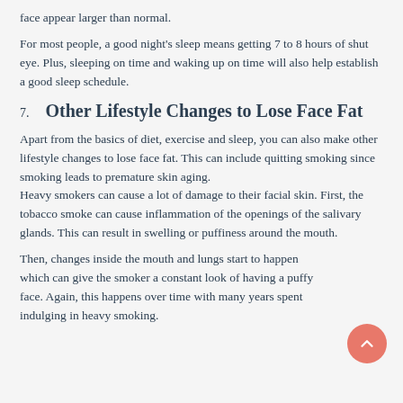face appear larger than normal.
For most people, a good night's sleep means getting 7 to 8 hours of shut eye. Plus, sleeping on time and waking up on time will also help establish a good sleep schedule.
7.  Other Lifestyle Changes to Lose Face Fat
Apart from the basics of diet, exercise and sleep, you can also make other lifestyle changes to lose face fat. This can include quitting smoking since smoking leads to premature skin aging.
Heavy smokers can cause a lot of damage to their facial skin. First, the tobacco smoke can cause inflammation of the openings of the salivary glands. This can result in swelling or puffiness around the mouth.
Then, changes inside the mouth and lungs start to happen which can give the smoker a constant look of having a puffy face. Again, this happens over time with many years spent indulging in heavy smoking.